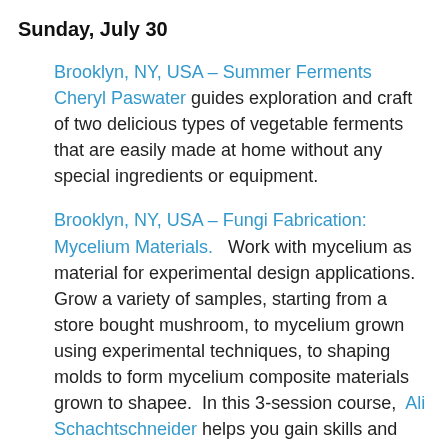Sunday, July 30
Brooklyn, NY, USA – Summer Ferments   Cheryl Paswater guides exploration and craft of two delicious types of vegetable ferments that are easily made at home without any special ingredients or equipment.
Brooklyn, NY, USA – Fungi Fabrication: Mycelium Materials.   Work with mycelium as material for experimental design applications. Grow a variety of samples, starting from a store bought mushroom, to mycelium grown using experimental techniques, to shaping molds to form mycelium composite materials grown to shapee.  In this 3-session course,  Ali Schachtschneider helps you gain skills and insight into potential applications for fungi based materials—walking away with new knowledge, mycelium tissue-